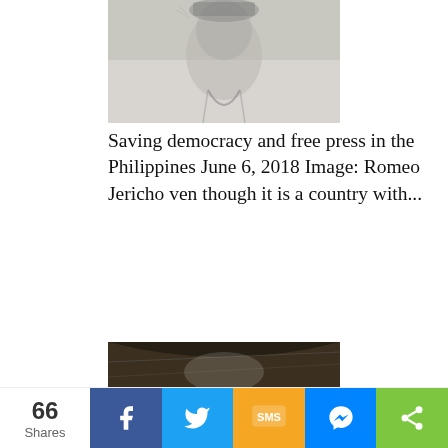[Figure (illustration): Partial sketch/illustration of a person, cropped at bottom showing upper torso and face area in pencil drawing style]
Saving democracy and free press in the Philippines June 6, 2018 Image: Romeo Jericho ven though it is a country with...
[Figure (photo): Photo of people gathered around a low table sharing a meal indoors, in a dimly lit room with a corrugated metal ceiling. Several children and adults wearing white skull caps are seated on a red mat.]
Nepal and Burma delay, dilute and deny justice September 11, 2018 Nepal's flourishing diversity of ethnicities, languages and cultures and its...
66 Shares  [Facebook] [Twitter] [SMS] [Messenger] [Share]